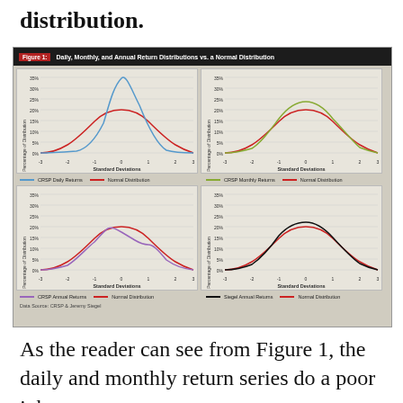distribution.
[Figure (continuous-plot): Four panel chart showing CRSP Daily Returns, CRSP Monthly Returns, CRSP Annual Returns, and Siegel Annual Returns each compared to a Normal Distribution, plotted as Percentage of Distribution vs Standard Deviations from -3 to 3. Daily returns show a very tall narrow peak (leptokurtic); Monthly returns show a broader distribution vs normal; Annual returns from CRSP are bimodal-looking; Siegel Annual Returns closely match the normal distribution curve. Y-axis 0%-35%, X-axis -3 to 3 Standard Deviations.]
As the reader can see from Figure 1, the daily and monthly return series do a poor job